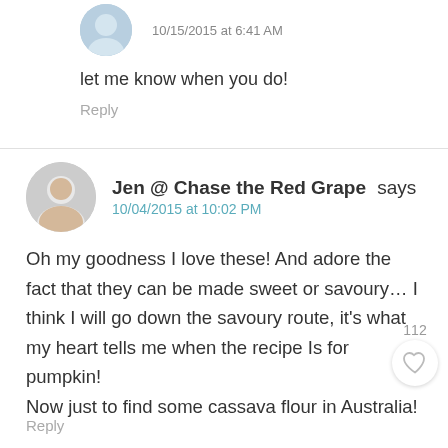10/15/2015 at 6:41 AM
let me know when you do!
Reply
Jen @ Chase the Red Grape says
10/04/2015 at 10:02 PM
Oh my goodness I love these! And adore the fact that they can be made sweet or savoury… I think I will go down the savoury route, it's what my heart tells me when the recipe Is for pumpkin!
Now just to find some cassava flour in Australia!
112
Reply